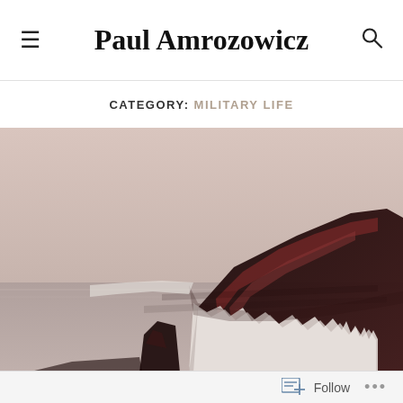Paul Amrozowicz
CATEGORY: MILITARY LIFE
[Figure (photo): A large ship sinking stern-first into calm water, with dark hull exposed and water cascading off the sides, set against a hazy pinkish-beige sky and water reflection below.]
Follow ...